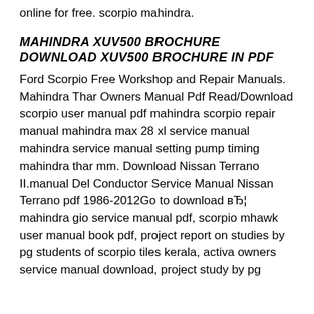online for free. scorpio mahindra.
MAHINDRA XUV500 BROCHURE DOWNLOAD XUV500 BROCHURE IN PDF
Ford Scorpio Free Workshop and Repair Manuals. Mahindra Thar Owners Manual Pdf Read/Download scorpio user manual pdf mahindra scorpio repair manual mahindra max 28 xl service manual mahindra service manual setting pump timing mahindra thar mm. Download Nissan Terrano II.manual Del Conductor Service Manual Nissan Terrano pdf 1986-2012Go to download вЂ¦ mahindra gio service manual pdf, scorpio mhawk user manual book pdf, project report on studies by pg students of scorpio tiles kerala, activa owners service manual download, project study by pg